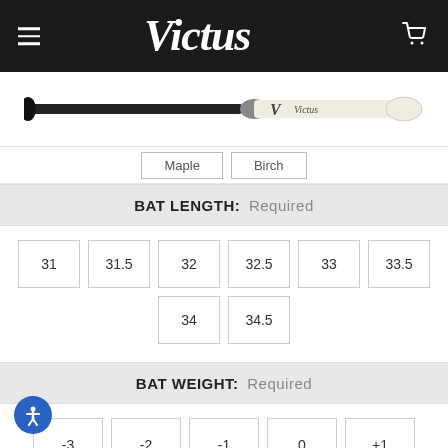[Figure (screenshot): Victus baseball bat product page screenshot showing header with logo, bat image, wood type selector (Maple, Birch), bat length selector with sizes 31 through 34.5, and bat weight selector with options -3 through +1]
Victus (logo)
Maple   Birch
BAT LENGTH:  Required
31
31.5
32
32.5
33
33.5
34
34.5
BAT WEIGHT:  Required
-3
-2
-1
0
+1